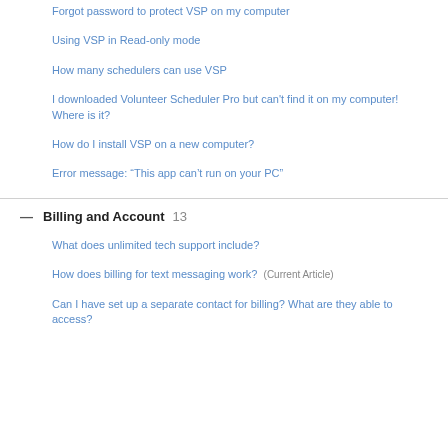Forgot password to protect VSP on my computer
Using VSP in Read-only mode
How many schedulers can use VSP
I downloaded Volunteer Scheduler Pro but can't find it on my computer! Where is it?
How do I install VSP on a new computer?
Error message: “This app can’t run on your PC”
Billing and Account  13
What does unlimited tech support include?
How does billing for text messaging work? (Current Article)
Can I have set up a separate contact for billing? What are they able to access?